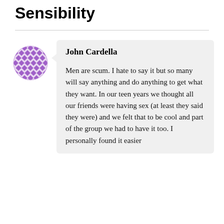Sensibility
[Figure (illustration): Purple diamond-pattern circular avatar icon for John Cardella]
John Cardella
Men are scum. I hate to say it but so many will say anything and do anything to get what they want. In our teen years we thought all our friends were having sex (at least they said they were) and we felt that to be cool and part of the group we had to have it too. I personally found it easier